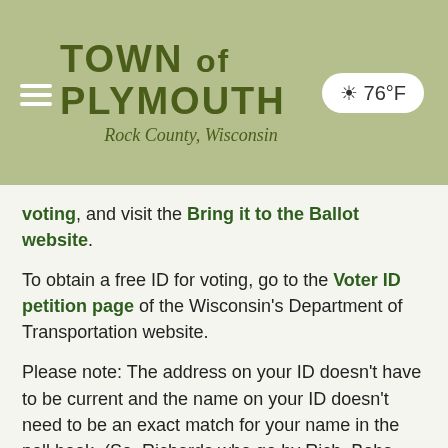TOWN of PLYMOUTH — Rock County, Wisconsin — ☀ 76°F
voting, and visit the Bring it to the Ballot website.
To obtain a free ID for voting, go to the Voter ID petition page of the Wisconsin's Department of Transportation website.
Please note: The address on your ID doesn't have to be current and the name on your ID doesn't need to be an exact match for your name in the poll book. (So, Richards who go by Rich, Bobs who are also Roberts and Susans with IDs that say Sue can relax.) Of course, there are certain requirements.